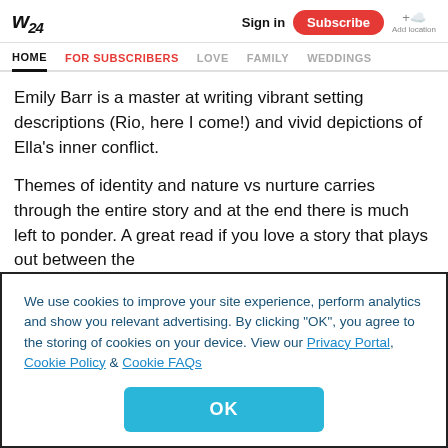W24  Sign in  Subscribe  Add location
HOME  FOR SUBSCRIBERS  LOVE  FAMILY  WEDDINGS
Emily Barr is a master at writing vibrant setting descriptions (Rio, here I come!) and vivid depictions of Ella's inner conflict.
Themes of identity and nature vs nurture carries through the entire story and at the end there is much left to ponder. A great read if you love a story that plays out between the
We use cookies to improve your site experience, perform analytics and show you relevant advertising. By clicking "OK", you agree to the storing of cookies on your device. View our Privacy Portal, Cookie Policy & Cookie FAQs
OK